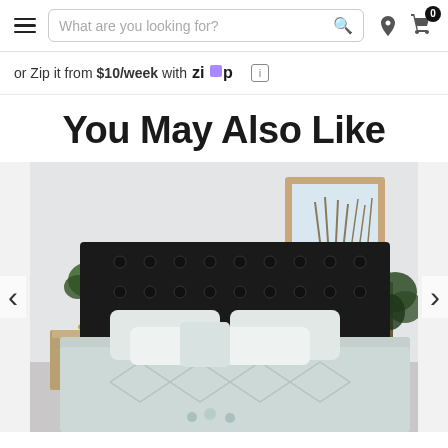Navigation bar with hamburger menu, search field 'What are you looking for?', location icon, and cart icon with badge '0'
or Zip it from $10/week with Zip [info]
You May Also Like
[Figure (photo): Bedroom scene with a bed featuring a light blue/grey textured quilt cover with diamond pattern, dark tufted headboard, multiple white pillows, a bedside table with a plant in a gold vase, a white vase, and a framed coastal artwork on the wall. A dark leafy plant is partially visible on the right.]